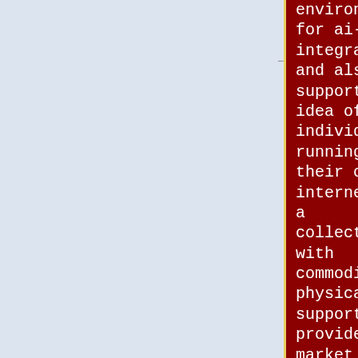environment for ai-integration, and also support the idea of individuals running their own internet as a collective, with commodity physical support provided by market driven competition of vendors with the
development environment for ai-integration, and also support the idea of individuals running their own internet as a collective, with commodity physical support provided by market driven competition of vendors